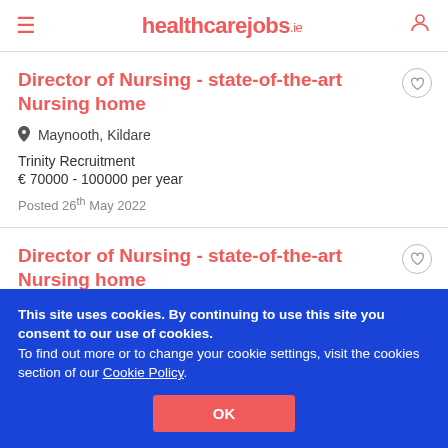healthcarejobs.ie
Director of Nursing - state-of-the-art Nursing home
Maynooth, Kildare
Trinity Recruitment
€ 70000 - 100000 per year
Posted 26th May 2022
Director of Nursing - state-of-the-art Nursing home
This site uses cookies. By continuing to use this site you consent to our use of cookies.
To find out more or to change your cookie settings, visit the cookies section of our Cookie Policy.
OK